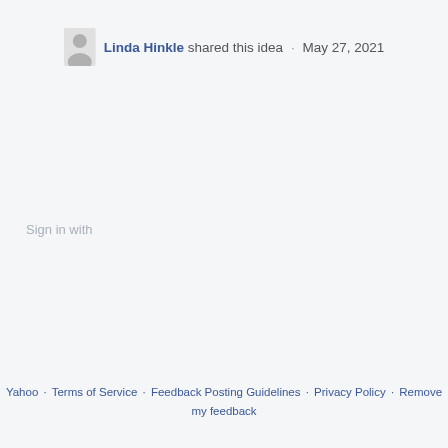Linda Hinkle shared this idea · May 27, 2021
Sign in with
Yahoo · Terms of Service · Feedback Posting Guidelines · Privacy Policy · Remove my feedback